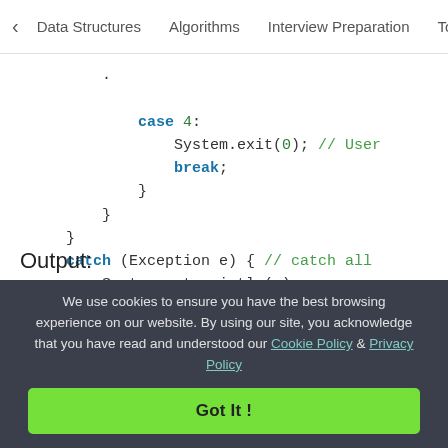< Data Structures   Algorithms   Interview Preparation   To>
case 4:
    System.exit(0); // User
    break;
}
    }
        }
        catch (Exception e) { // catch all
            System.out.println(e);
        }
    }
}
Output:
We use cookies to ensure you have the best browsing experience on our website. By using our site, you acknowledge that you have read and understood our Cookie Policy & Privacy Policy
Got It !